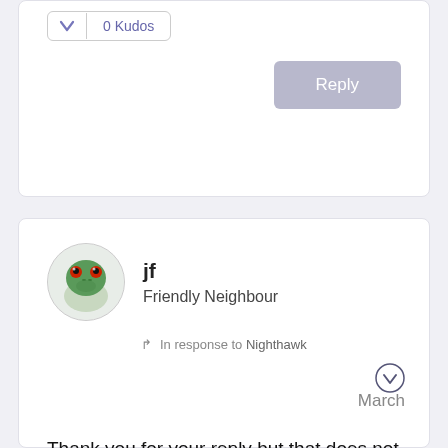[Figure (other): Kudos button with downward arrow and '0 Kudos' text]
[Figure (other): Reply button (light purple/grey)]
[Figure (photo): User avatar showing a green frog (tree frog) close-up photo]
jf
Friendly Neighbour
In response to Nighthawk
March
Thank you for your reply but that does not answer my question I am not an NHL live subscriber I'm an optiK user in Calgary and the Flames game is blacked out according to